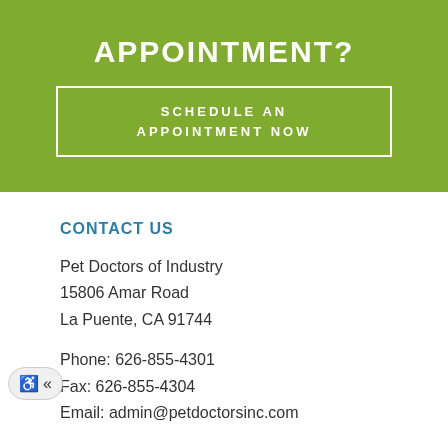APPOINTMENT?
SCHEDULE AN APPOINTMENT NOW
CONTACT US
Pet Doctors of Industry
15806 Amar Road
La Puente, CA 91744
Phone: 626-855-4301
Fax: 626-855-4304
Email: admin@petdoctorsinc.com